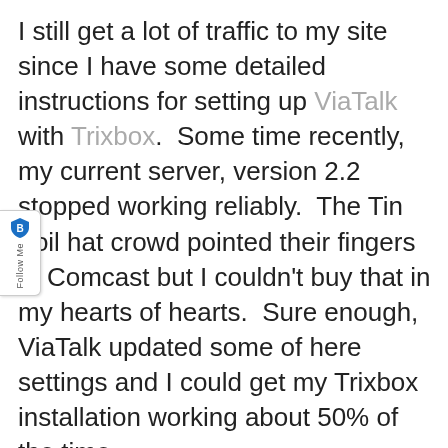I still get a lot of traffic to my site since I have some detailed instructions for setting up ViaTalk with Trixbox.  Some time recently, my current server, version 2.2 stopped working reliably.  The Tin Foil hat crowd pointed their fingers at Comcast but I couldn't buy that in my hearts of hearts.  Sure enough, ViaTalk updated some of here settings and I could get my Trixbox installation working about 50% of the time.
So, version 2.4 has come out.  So I started fresh.  All my VM's are 2 CPU's with 4GB RAM.  ESX|ESXi does a great job of abstracting the amount of memory so even thought the OS sees all 4GB's, the VM is really only taking up